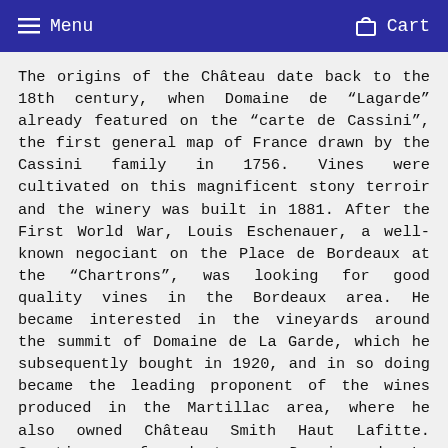Menu  Cart
The origins of the Château date back to the 18th century, when Domaine de "Lagarde" already featured on the "carte de Cassini", the first general map of France drawn by the Cassini family in 1756. Vines were cultivated on this magnificent stony terroir and the winery was built in 1881. After the First World War, Louis Eschenauer, a well-known negociant on the Place de Bordeaux at the "Chartrons", was looking for good quality vines in the Bordeaux area. He became interested in the vineyards around the summit of Domaine de La Garde, which he subsequently bought in 1920, and in so doing became the leading proponent of the wines produced in the Martillac area, where he also owned Château Smith Haut Lafitte. Sometimes referred to as Domaine de La Garde, Clos de La Garde, then Château La Garde, even at this time a crest featured on the estate's wine labels inspired by weapons thought to be from the region of Aquitaine during the 100 years' war, displaying the leopard with a lion's head.